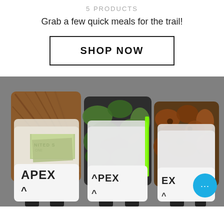5 PRODUCTS
Grab a few quick meals for the trail!
SHOP NOW
[Figure (photo): Photo of three APEX wallets with camo, wood grain, and camo patterns, showing cards and US dollar bills inserted, with black elastic straps visible at the bottom.]